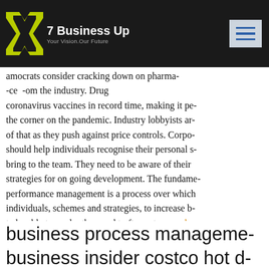7 Business Up — Your Vision Our Future
amocrats consider cracking down on pharma- -ce -om the industry. Drug coronavirus vaccines in record time, making it pe- the corner on the pandemic. Industry lobbyists ar- of that as they push against price controls. Corpo- should help individuals recognise their personal s- bring to the team. They need to be aware of their strategies for on going development. The fundame- performance management is a process over which individuals, schemes and strategies, to increase b- to be able to render the sought-after outcomes. ba- affirmation entails, doing the correct things and d- That is, an industrious organisation must admit or leaders, and the other that insists on accomplishin-
business process manageme- business insider costco hot d- economist newspaper limite-